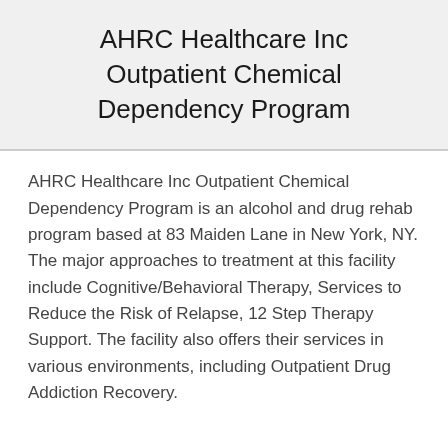AHRC Healthcare Inc Outpatient Chemical Dependency Program
AHRC Healthcare Inc Outpatient Chemical Dependency Program is an alcohol and drug rehab program based at 83 Maiden Lane in New York, NY.
The major approaches to treatment at this facility include Cognitive/Behavioral Therapy, Services to Reduce the Risk of Relapse, 12 Step Therapy Support. The facility also offers their services in various environments, including Outpatient Drug Addiction Recovery.